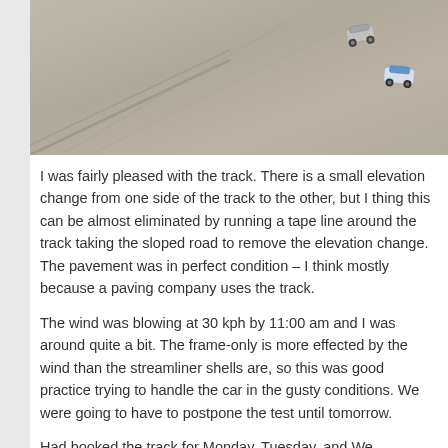[Figure (photo): Aerial or overhead view of two small RC car models on a sandy/paved track surface with tire track lines visible]
I was fairly pleased with the track. There is a small elevation change from one side of the track to the other, but I thing this can be almost eliminated by running a tape line around the track taking the normal sloped road to remove the elevation change. The pavement was in perfect condition – I think mostly because a paving company uses the track.
The wind was blowing at 30 kph by 11:00 am and I was getting blown around quite a bit. The frame-only is more effected by the wind than the streamliner shells are, so this was good practice trying to handle the car in the gusty conditions. We were going to have to postpone the speed test until tomorrow.
Had booked the track for Monday, Tuesday, and Wednesday...